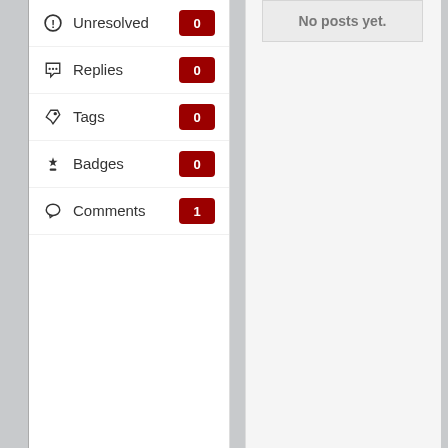Unresolved 0
Replies 0
Tags 0
Badges 0
Comments 1
No posts yet.